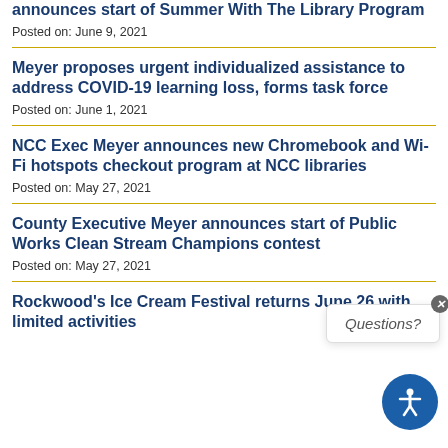announces start of Summer With The Library Program
Posted on: June 9, 2021
Meyer proposes urgent individualized assistance to address COVID-19 learning loss, forms task force
Posted on: June 1, 2021
NCC Exec Meyer announces new Chromebook and Wi-Fi hotspots checkout program at NCC libraries
Posted on: May 27, 2021
County Executive Meyer announces start of Public Works Clean Stream Champions contest
Posted on: May 27, 2021
Rockwood's Ice Cream Festival returns June 26 with limited activities